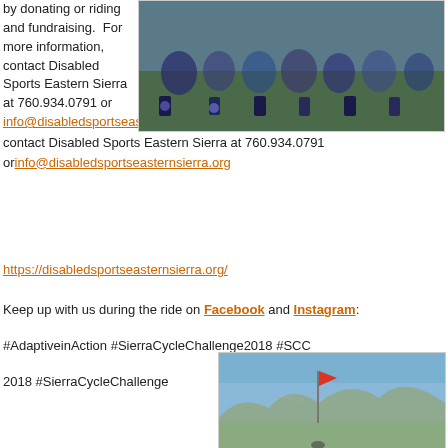by donating or riding and fundraising.  For more information, contact Disabled Sports Eastern Sierra at 760.934.0791 or info@disabledsportseasternsierra.org
[Figure (photo): Group of cyclists gathered together outdoors]
https://disabledsportseasternsierra.org/
Keep up with us during the ride on Facebook and Instagram:
#AdaptiveinAction #SierraCycleChallenge2018 #SCC
2018 #SierraCycleChallenge
[Figure (photo): Mountain landscape with a red flag on a pole, snow-capped mountains in background, cyclist at bottom]